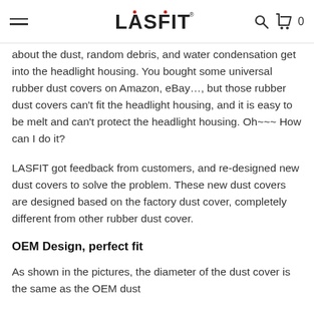LASFIT [logo] | hamburger menu | search | cart 0
about the dust, random debris, and water condensation get into the headlight housing. You bought some universal rubber dust covers on Amazon, eBay…, but those rubber dust covers can't fit the headlight housing, and it is easy to be melt and can't protect the headlight housing. Oh~~~ How can I do it?
LASFIT got feedback from customers, and re-designed new dust covers to solve the problem. These new dust covers are designed based on the factory dust cover, completely different from other rubber dust cover.
OEM Design, perfect fit
As shown in the pictures, the diameter of the dust cover is the same as the OEM dust